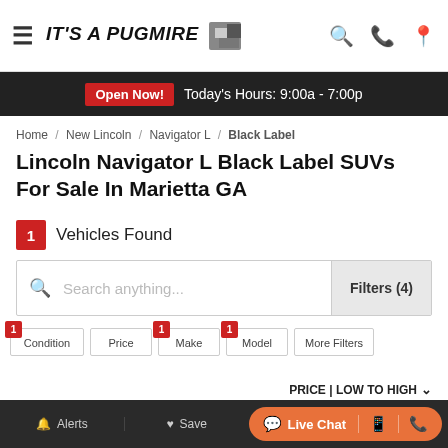IT'S A PUGMIRE — dealership header with navigation icons
Open Now! Today's Hours: 9:00a - 7:00p
Home / New Lincoln / Navigator L / Black Label
Lincoln Navigator L Black Label SUVs For Sale In Marietta GA
1 Vehicles Found
Search anything... Filters (4)
1 Condition | Price | 1 Make | 1 Model | More Filters
PRICE | LOW TO HIGH
[Figure (screenshot): Vehicle listing card area (photo coming soon)]
Alerts | Save | Live Chat | mobile icon | phone icon